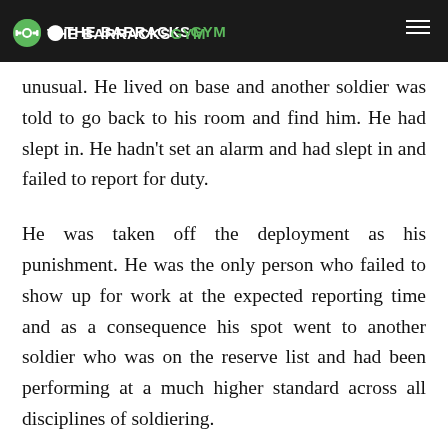THE BARRACKS GYM
training that was required of us. One of the soldiers didn't show up for the morning parade - this was very unusual. He lived on base and another soldier was told to go back to his room and find him. He had slept in. He hadn't set an alarm and had slept in and failed to report for duty.
He was taken off the deployment as his punishment. He was the only person who failed to show up for work at the expected reporting time and as a consequence his spot went to another soldier who was on the reserve list and had been performing at a much higher standard across all disciplines of soldiering.
This example is extreme. This example highlights the opportunity that you could lose if you fail to be